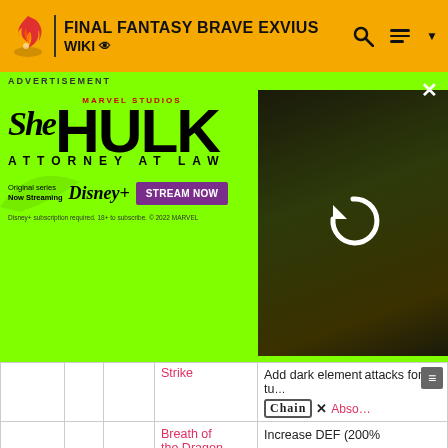FINAL FANTASY BRAVE EXVIUS WIKI
[Figure (screenshot): She-Hulk Attorney at Law advertisement banner on a bright green background. Marvel Studios branding, Disney+ streaming promotion with Stream Now button. Photo of actress on right side with reload icon overlay. ADVERTISEMENT label at top left, X close button at top right.]
| Stars | MP | Icon | Name | Effect |
| --- | --- | --- | --- | --- |
|  |  |  | Strike | Add dark element to attacks for 5 tu... CHAIN X Abso... |
| 6 ★ | 59 | [icon] | Breath of the Dragon | Increase DEF (200% turns to caster Increase physical da... against dragons (75 turns to caster Enable skill for 2 tur... caster: Dragon Ligh... |